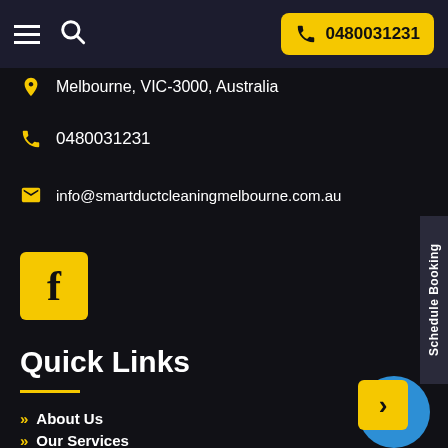0480031231
Melbourne, VIC-3000, Australia
0480031231
info@smartductcleaningmelbourne.com.au
[Figure (logo): Facebook logo button (yellow square with white f)]
Quick Links
About Us
Our Services
Contact Us